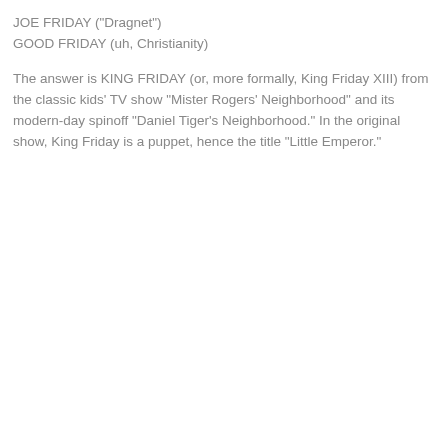JOE FRIDAY ("Dragnet")
GOOD FRIDAY (uh, Christianity)
The answer is KING FRIDAY (or, more formally, King Friday XIII) from the classic kids' TV show "Mister Rogers' Neighborhood" and its modern-day spinoff "Daniel Tiger's Neighborhood." In the original show, King Friday is a puppet, hence the title "Little Emperor."